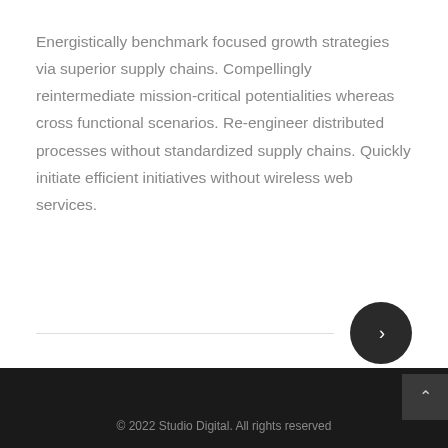Energistically benchmark focused growth strategies via superior supply chains. Compellingly reintermediate mission-critical potentialities whereas cross functional scenarios. Re-engineer distributed processes without standardized supply chains. Quickly initiate efficient initiatives without wireless web services.
© 2022 Studio Digital. All rights reserved